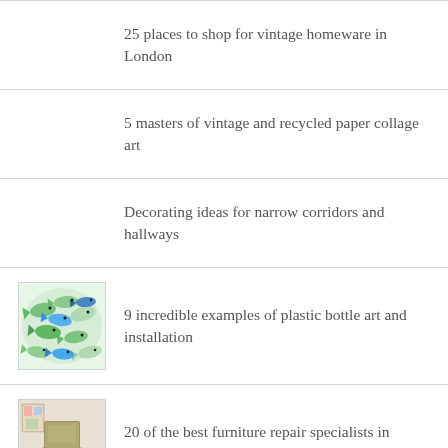25 places to shop for vintage homeware in London
5 masters of vintage and recycled paper collage art
Decorating ideas for narrow corridors and hallways
9 incredible examples of plastic bottle art and installation
20 of the best furniture repair specialists in London
[Figure (photo): Colorful watercolor fish pattern in green and blue]
[Figure (photo): Photo of a chair in a room with artwork]